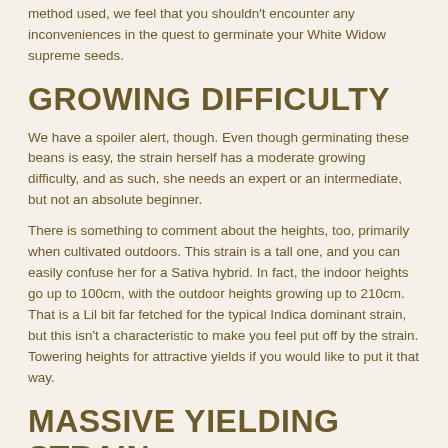method used, we feel that you shouldn't encounter any inconveniences in the quest to germinate your White Widow supreme seeds.
GROWING DIFFICULTY
We have a spoiler alert, though. Even though germinating these beans is easy, the strain herself has a moderate growing difficulty, and as such, she needs an expert or an intermediate, but not an absolute beginner.
There is something to comment about the heights, too, primarily when cultivated outdoors. This strain is a tall one, and you can easily confuse her for a Sativa hybrid. In fact, the indoor heights go up to 100cm, with the outdoor heights growing up to 210cm. That is a Lil bit far fetched for the typical Indica dominant strain, but this isn't a characteristic to make you feel put off by the strain. Towering heights for attractive yields if you would like to put it that way.
MASSIVE YIELDING STRAIN
White Widow fem yields up to 350gms per square meter when grown